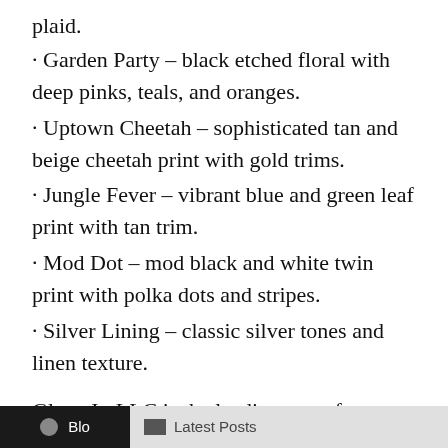plaid.
· Garden Party – black etched floral with deep pinks, teals, and oranges.
· Uptown Cheetah – sophisticated tan and beige cheetah print with gold trims.
· Jungle Fever – vibrant blue and green leaf print with tan trim.
· Mod Dot – mod black and white twin print with polka dots and stripes.
· Silver Lining – classic silver tones and linen texture.
Glove It, LLC is the leading manufacturer of women's golf, tennis, and active lifestyle accessories.  For more information on Glove It, visit their website at gloveit.com.